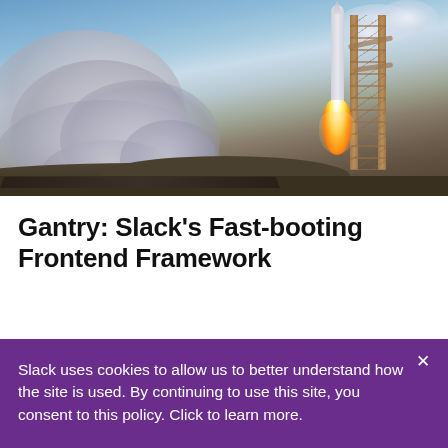[Figure (photo): Rocket launch photograph showing a rocket lifting off from a launch pad on the right side with bright flame and exhaust, billowing white and grey smoke clouds on the left side, blue sky with clouds in the background, and launch scaffolding visible on the right.]
Gantry: Slack’s Fast-booting Frontend Framework
Slack uses cookies to allow us to better understand how the site is used. By continuing to use this site, you consent to this policy. Click to learn more.